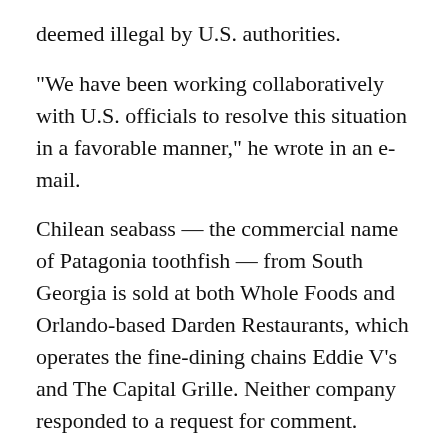deemed illegal by U.S. authorities.
"We have been working collaboratively with U.S. officials to resolve this situation in a favorable manner," he wrote in an e-mail.
Chilean seabass — the commercial name of Patagonia toothfish — from South Georgia is sold at both Whole Foods and Orlando-based Darden Restaurants, which operates the fine-dining chains Eddie V’s and The Capital Grille. Neither company responded to a request for comment.
An official from the government of South Georgia and the South Sandwich Islands, which issued the licenses in coordination with the U.K. foreign office, said it took action so as not to give in to obstructionist tactics by